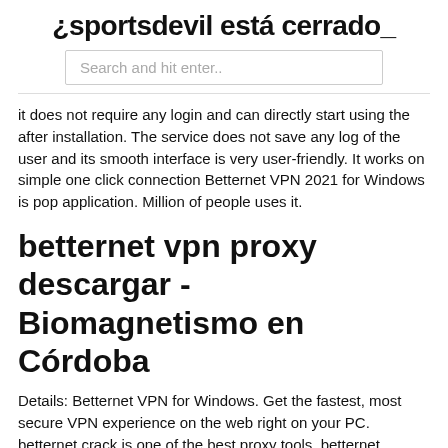¿sportsdevil está cerrado_
Search and hit enter..
it does not require any login and can directly start using the after installation. The service does not save any log of the user and its smooth interface is very user-friendly. It works on simple one click connection Betternet VPN 2021 for Windows is pop application. Million of people uses it.
betternet vpn proxy descargar - Biomagnetismo en Córdoba
Details: Betternet VPN for Windows. Get the fastest, most secure VPN experience on the web right on your PC. betternet crack is one of the best proxy tools. betternet premium crack 2021 is one of the best solutions for users. betternet crack full . Contents. 1 Betternet VPN Premium 6.7.2.621 Full Version Crack for windows xp, 7, 8, 8.1. 2 Key features.